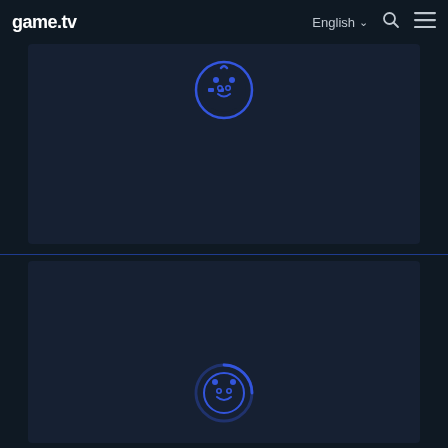game.tv  English  [search] [menu]
[Figure (logo): game.tv loading spinner icon - blue circular game controller logo, top card]
[Figure (logo): game.tv loading spinner icon - blue circular game controller logo with arc, bottom card]